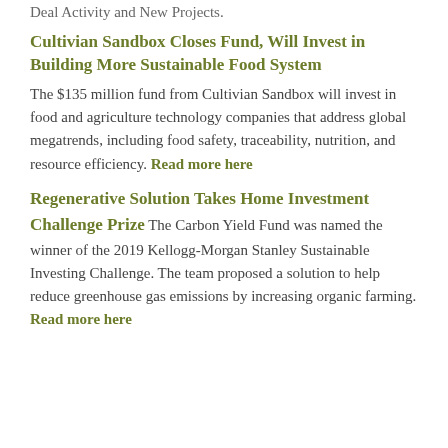Deal Activity and New Projects.
Cultivian Sandbox Closes Fund, Will Invest in Building More Sustainable Food System
The $135 million fund from Cultivian Sandbox will invest in food and agriculture technology companies that address global megatrends, including food safety, traceability, nutrition, and resource efficiency. Read more here
Regenerative Solution Takes Home Investment Challenge Prize
The Carbon Yield Fund was named the winner of the 2019 Kellogg-Morgan Stanley Sustainable Investing Challenge. The team proposed a solution to help reduce greenhouse gas emissions by increasing organic farming. Read more here